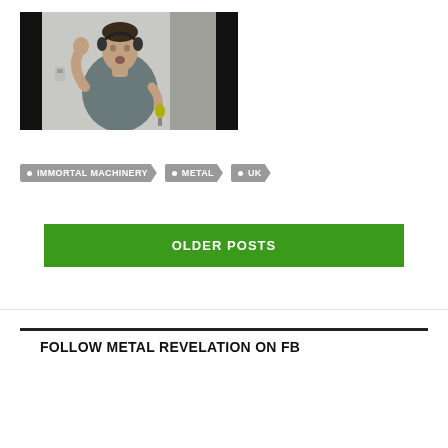[Figure (photo): A man wearing headphones singing or performing, raising one hand, photographed in a room against a light wall. Black borders on left and right sides of the image.]
IMMORTAL MACHINERY
METAL
UK
OLDER POSTS
FOLLOW METAL REVELATION ON FB